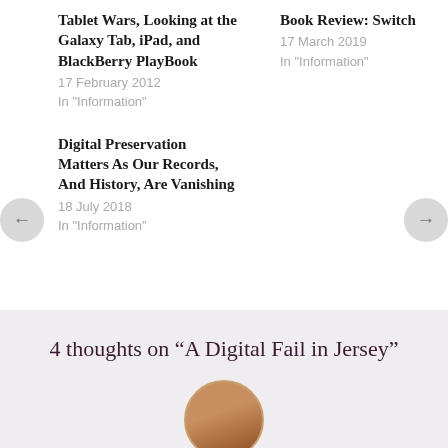Tablet Wars, Looking at the Galaxy Tab, iPad, and BlackBerry PlayBook
17 February 2012
In "Information"
Book Review: Switch
17 March 2019
In "Information"
Digital Preservation Matters As Our Records, And History, Are Vanishing
18 July 2018
In "Information"
• DIGITAL TRANSFORMATION
• IPAD
4 thoughts on “A Digital Fail in Jersey”
[Figure (photo): Circular avatar photo of a person]